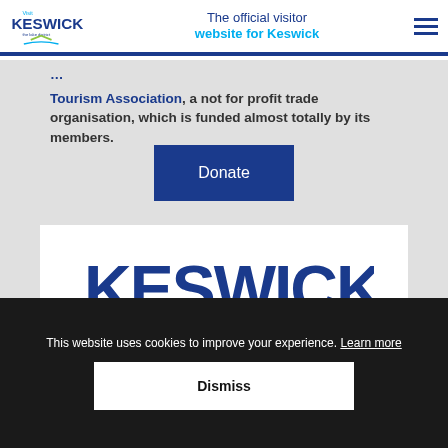Visit Keswick — The official visitor website for Keswick
Tourism Association, a not for profit trade organisation, which is funded almost totally by its members.
[Figure (other): Donate button — dark navy blue rectangular button with white text 'Donate']
[Figure (logo): Keswick Tourism Association logo — large dark blue KESWICK text, cyan 'Tourism Association' text, green chevron and blue arc below]
This website uses cookies to improve your experience. Learn more
Dismiss